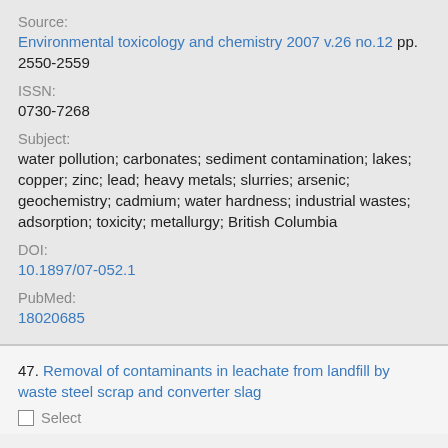Source:
Environmental toxicology and chemistry 2007 v.26 no.12 pp. 2550-2559
ISSN:
0730-7268
Subject:
water pollution; carbonates; sediment contamination; lakes; copper; zinc; lead; heavy metals; slurries; arsenic; geochemistry; cadmium; water hardness; industrial wastes; adsorption; toxicity; metallurgy; British Columbia
DOI:
10.1897/07-052.1
PubMed:
18020685
47. Removal of contaminants in leachate from landfill by waste steel scrap and converter slag
Select